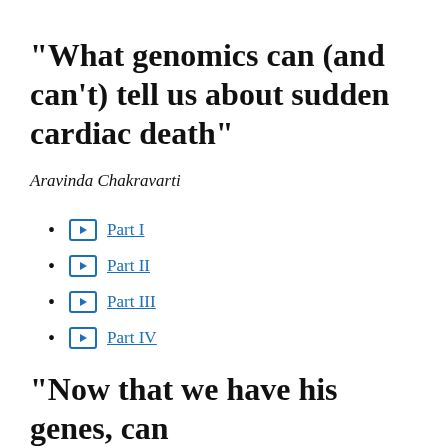"What genomics can (and can't) tell us about sudden cardiac death"
Aravinda Chakravarti
Part I
Part II
Part III
Part IV
"Now that we have his genes, can